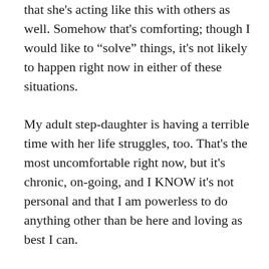that she's acting like this with others as well. Somehow that's comforting; though I would like to "solve" things, it's not likely to happen right now in either of these situations. My adult step-daughter is having a terrible time with her life struggles, too. That's the most uncomfortable right now, but it's chronic, on-going, and I KNOW it's not personal and that I am powerless to do anything other than be here and loving as best I can. OK- last! Much discomfort in situations which come up at work- I'm an RN. The most uncomfortable are the political and bureaucratic things that